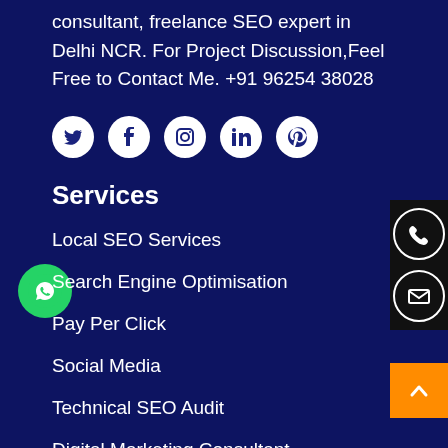consultant, freelance SEO expert in Delhi NCR. For Project Discussion,Feel Free to Contact Me. +91 96254 38028
[Figure (infographic): Row of 5 white circular social media icons: Twitter, Facebook, Instagram, LinkedIn, Pinterest on dark navy background]
Services
Local SEO Services
Search Engine Optimisation
Pay Per Click
Social Media
Technical SEO Audit
Digital Marketing Consultant
Website Design Service
[Figure (infographic): Dark panel on the right with phone and email circular icons in white borders]
[Figure (infographic): Green WhatsApp floating button with WhatsApp logo, positioned bottom left]
[Figure (infographic): Orange back-to-top button with upward chevron, bottom right]